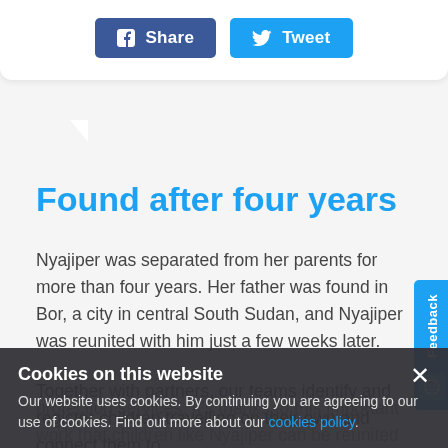[Figure (screenshot): Facebook Share button (blue) and Twitter Tweet button (light blue) social sharing buttons]
Found after four years
Nyajiper was separated from her parents for more than four years. Her father was found in Bor, a city in central South Sudan, and Nyajiper was reunited with him just a few weeks later.
Together with partners, our teams identify and register children travelling on their own and connect them to protection services. It's thanks to this important work that children like Nyajiper can be reunited with their loved ones.
Cookies on this website
Our website uses cookies. By continuing you are agreeing to our use of cookies. Find out more about our cookies policy.